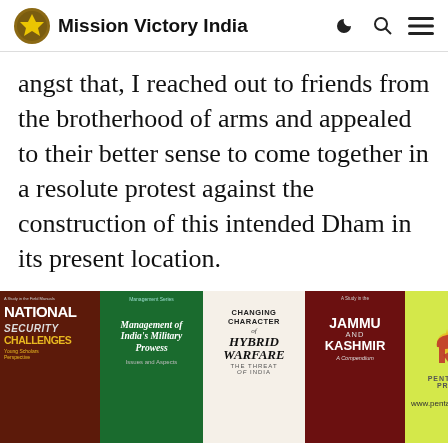Mission Victory India
angst that, I reached out to friends from the brotherhood of arms and appealed to their better sense to come together in a resolute protest against the construction of this intended Dham in its present location.
[Figure (photo): Book advertisement banner showing four book covers: 'National Security Challenges', 'Management of India's Military Prowess', 'Changing Character of Hybrid Warfare: The Threat to India', 'Jammu and Kashmir: A Compendium', and Pentagon Press logo with website www.pentagonpress.in]
Publish your book with
#JoinTheFauj